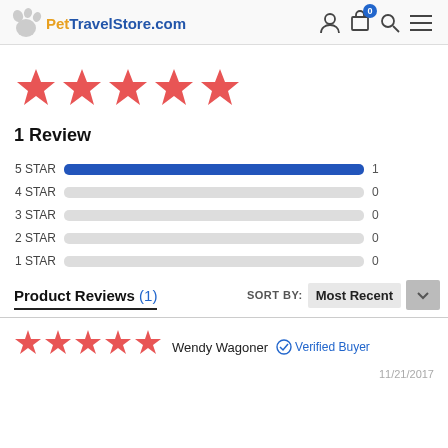PetTravelStore.com
[Figure (other): 5 red filled stars rating display]
1 Review
[Figure (bar-chart): Star rating breakdown]
Product Reviews (1)
SORT BY: Most Recent
[Figure (other): 5 red filled stars small rating]
Wendy Wagoner  Verified Buyer
11/21/2017